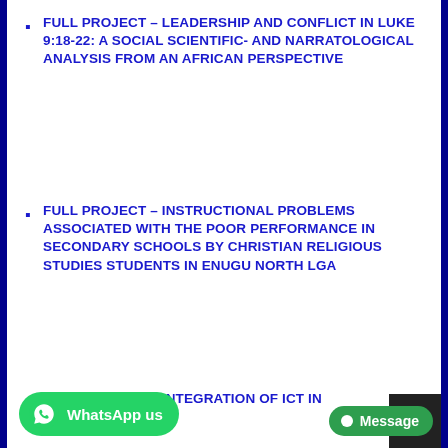FULL PROJECT – LEADERSHIP AND CONFLICT IN LUKE 9:18-22: A SOCIAL SCIENTIFIC- AND NARRATOLOGICAL ANALYSIS FROM AN AFRICAN PERSPECTIVE
FULL PROJECT – INSTRUCTIONAL PROBLEMS ASSOCIATED WITH THE POOR PERFORMANCE IN SECONDARY SCHOOLS BY CHRISTIAN RELIGIOUS STUDIES STUDENTS IN ENUGU NORTH LGA
FULL PROJECT – INTEGRATION OF ICT IN